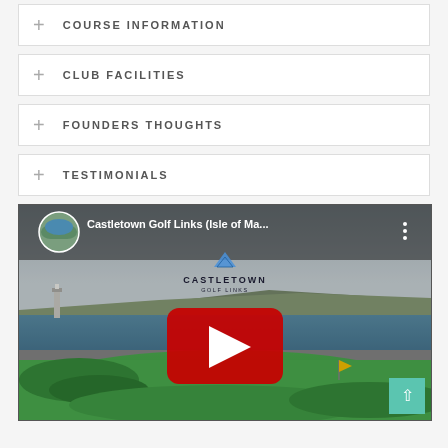+ COURSE INFORMATION
+ CLUB FACILITIES
+ FOUNDERS THOUGHTS
+ TESTIMONIALS
[Figure (screenshot): YouTube video thumbnail for 'Castletown Golf Links (Isle of Ma...)' showing a scenic golf course with ocean coast, lighthouse, green fairways, and yellow flag. Castletown Golf Links logo visible. Red YouTube play button in center.]